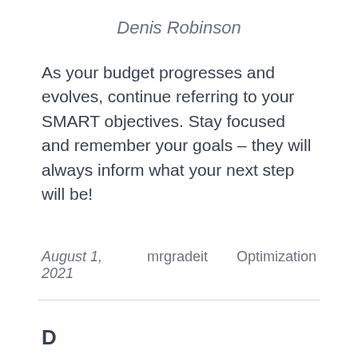Denis Robinson
As your budget progresses and evolves, continue referring to your SMART objectives. Stay focused and remember your goals – they will always inform what your next step will be!
August 1, 2021    mrgradeit    Optimization